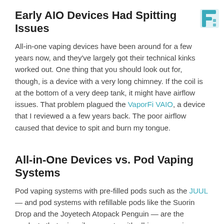Early AIO Devices Had Spitting Issues
[Figure (logo): Stylized logo mark in teal/cyan color, partial view, top-right corner]
All-in-one vaping devices have been around for a few years now, and they've largely got their technical kinks worked out. One thing that you should look out for, though, is a device with a very long chimney. If the coil is at the bottom of a very deep tank, it might have airflow issues. That problem plagued the VaporFi VAIO, a device that I reviewed a a few years back. The poor airflow caused that device to spit and burn my tongue.
All-in-One Devices vs. Pod Vaping Systems
Pod vaping systems with pre-filled pods such as the JUUL — and pod systems with refillable pods like the Suorin Drop and the Joyetech Atopack Penguin — are the products that primarily compete with all-in-one vaping devices. Here's how all-in-one devices vs. pod vaping devices differ: